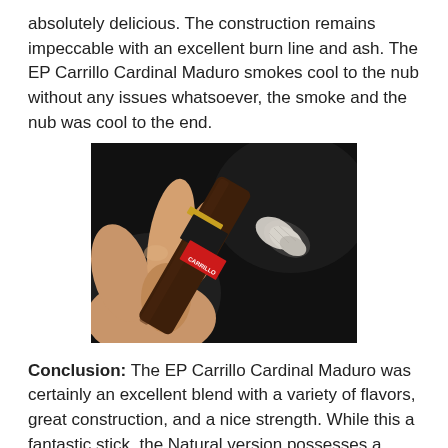absolutely delicious. The construction remains impeccable with an excellent burn line and ash. The EP Carrillo Cardinal Maduro smokes cool to the nub without any issues whatsoever, the smoke and the nub was cool to the end.
[Figure (photo): A hand holding an EP Carrillo Cardinal Maduro cigar with ash at the tip, against a dark background. The cigar shows a red and black band reading 'CARRILLO'.]
Conclusion: The EP Carrillo Cardinal Maduro was certainly an excellent blend with a variety of flavors, great construction, and a nice strength. While this a fantastic stick, the Natural version possesses a more savory note which makes it stand apart from almost all of the new sticks I've smoked this year. It was certainly a solid stick, and definitely worth trying. In fact, for a maduro fan, it is certainly worth a box. The Carrillos have